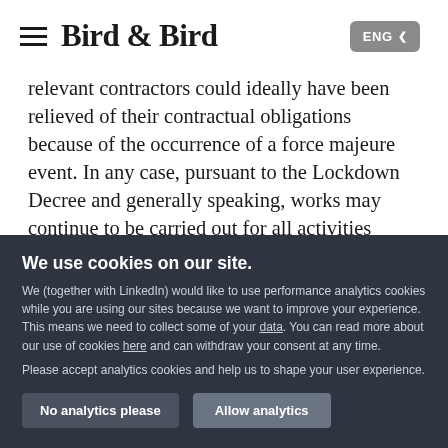Bird & Bird | ENG
relevant contractors could ideally have been relieved of their contractual obligations because of the occurrence of a force majeure event. In any case, pursuant to the Lockdown Decree and generally speaking, works may continue to be carried out for all activities aimed at ensuring the supply of electricity, gas, steam and air conditioning
We use cookies on our site.
We (together with LinkedIn) would like to use performance analytics cookies while you are using our sites because we want to improve your experience. This means we need to collect some of your data. You can read more about our use of cookies here and can withdraw your consent at any time.

Please accept analytics cookies and help us to shape your user experience.
No analytics please | Allow analytics